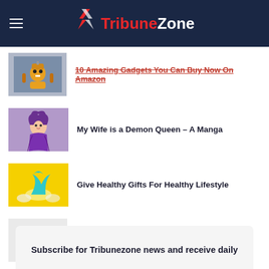TribuneZone
10 Amazing Gadgets You Can Buy Now On Amazon
My Wife is a Demon Queen – A Manga
Give Healthy Gifts For Healthy Lifestyle
How Technology Keeps You Entertained at Home
Subscribe for Tribunezone news and receive daily